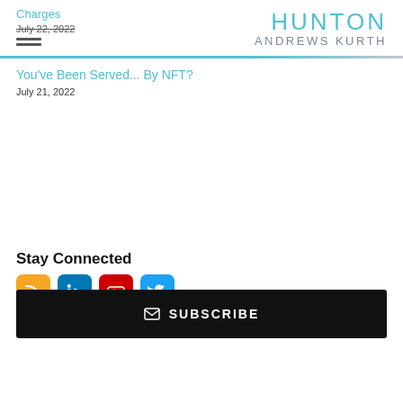Charges
July 22, 2022
[Figure (logo): Hunton Andrews Kurth law firm logo in teal/gray]
You've Been Served... By NFT?
July 21, 2022
Stay Connected
[Figure (infographic): Social media icons: RSS (orange), LinkedIn (blue), YouTube (red), Twitter (light blue)]
SUBSCRIBE